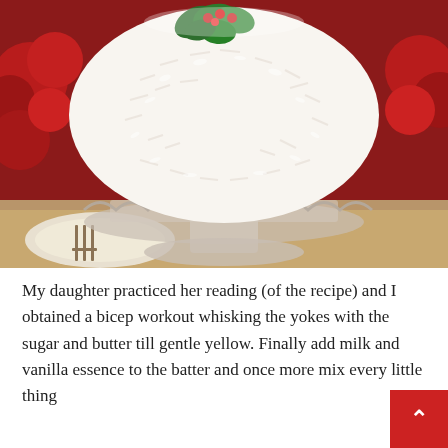[Figure (photo): A white coconut-covered layer cake on a glass pedestal cake stand, decorated with green holly and red berries on top, with red roses in the background and plates/forks visible in the foreground]
My daughter practiced her reading (of the recipe) and I obtained a bicep workout whisking the yokes with the sugar and butter till gentle yellow. Finally add milk and vanilla essence to the batter and once more mix every little thing